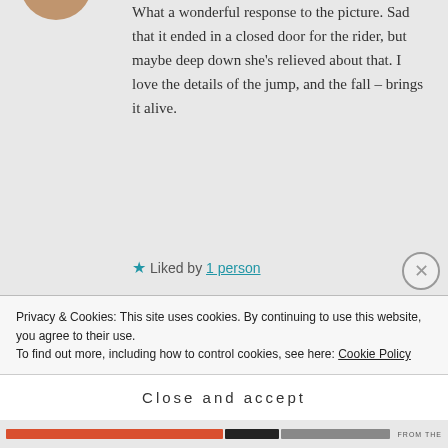What a wonderful response to the picture. Sad that it ended in a closed door for the rider, but maybe deep down she's relieved about that. I love the details of the jump, and the fall – brings it alive.
★ Liked by 1 person
TALESFROMTHEMOTHERLAND says:
Privacy & Cookies: This site uses cookies. By continuing to use this website, you agree to their use.
To find out more, including how to control cookies, see here: Cookie Policy
Close and accept